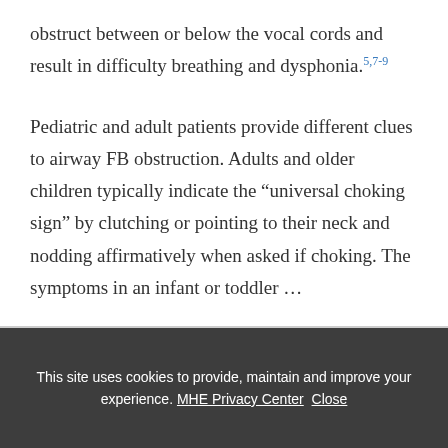obstruct between or below the vocal cords and result in difficulty breathing and dysphonia.5,7-9
Pediatric and adult patients provide different clues to airway FB obstruction. Adults and older children typically indicate the “universal choking sign” by clutching or pointing to their neck and nodding affirmatively when asked if choking. The symptoms in an infant or toddler …
This site uses cookies to provide, maintain and improve your experience. MHE Privacy Center  Close